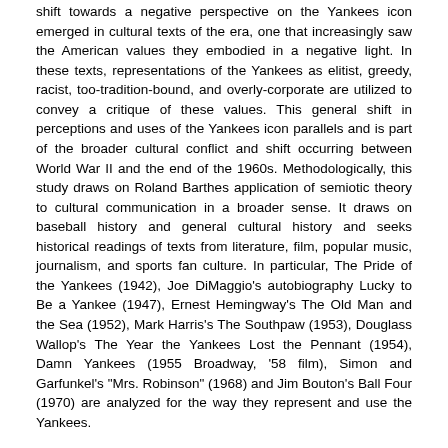shift towards a negative perspective on the Yankees icon emerged in cultural texts of the era, one that increasingly saw the American values they embodied in a negative light. In these texts, representations of the Yankees as elitist, greedy, racist, too-tradition-bound, and overly-corporate are utilized to convey a critique of these values. This general shift in perceptions and uses of the Yankees icon parallels and is part of the broader cultural conflict and shift occurring between World War II and the end of the 1960s. Methodologically, this study draws on Roland Barthes application of semiotic theory to cultural communication in a broader sense. It draws on baseball history and general cultural history and seeks historical readings of texts from literature, film, popular music, journalism, and sports fan culture. In particular, The Pride of the Yankees (1942), Joe DiMaggio's autobiography Lucky to Be a Yankee (1947), Ernest Hemingway's The Old Man and the Sea (1952), Mark Harris's The Southpaw (1953), Douglass Wallop's The Year the Yankees Lost the Pennant (1954), Damn Yankees (1955 Broadway, '58 film), Simon and Garfunkel's "Mrs. Robinson" (1968) and Jim Bouton's Ball Four (1970) are analyzed for the way they represent and use the Yankees.
URI
http://hdl.handle.net/1808/14516